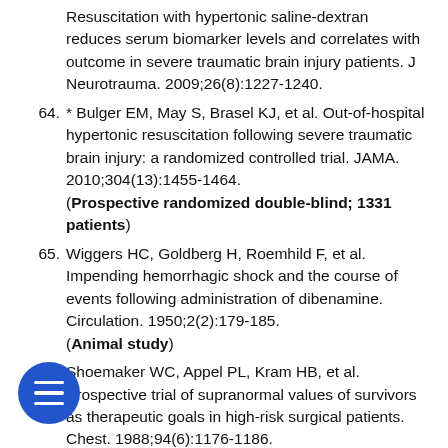Resuscitation with hypertonic saline-dextran reduces serum biomarker levels and correlates with outcome in severe traumatic brain injury patients. J Neurotrauma. 2009;26(8):1227-1240.
64. * Bulger EM, May S, Brasel KJ, et al. Out-of-hospital hypertonic resuscitation following severe traumatic brain injury: a randomized controlled trial. JAMA. 2010;304(13):1455-1464. (Prospective randomized double-blind; 1331 patients)
65. Wiggers HC, Goldberg H, Roemhild F, et al. Impending hemorrhagic shock and the course of events following administration of dibenamine. Circulation. 1950;2(2):179-185. (Animal study)
66. Shoemaker WC, Appel PL, Kram HB, et al. Prospective trial of supranormal values of survivors as therapeutic goals in high-risk surgical patients. Chest. 1988;94(6):1176-1186.